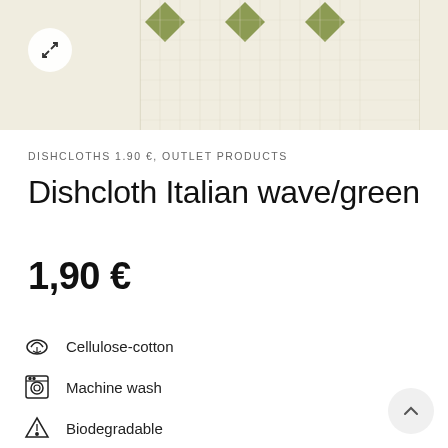[Figure (photo): Product image of a dishcloth with Italian wave pattern in green/cream colors. Shows diamond/chevron knit pattern. MORE JOY text visible in olive green. Expand icon in top-left.]
DISHCLOTHS 1.90 €, OUTLET PRODUCTS
Dishcloth Italian wave/green
1,90 €
Cellulose-cotton
Machine wash
Biodegradable
Water based inks